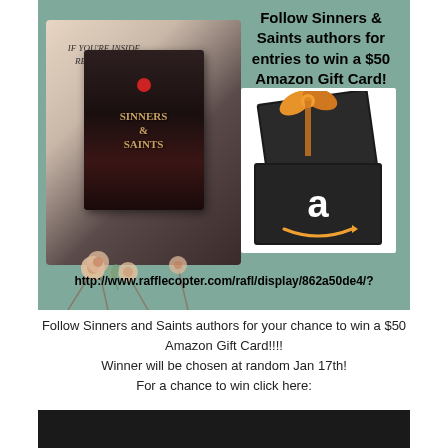[Figure (infographic): Promotional image with sage/teal green background. Left side shows book cover for 'Sinners & Saints' with floral decoration and text 'IF YOU'RE INSIDE, READ A BOOK!'. Right side shows an Amazon gift box (black box with orange bow containing Amazon gift card). Bold headline text reads 'Follow Sinners & Saints authors for entries to win a $50 Amazon Gift Card!' at top right. URL at bottom: http://www.rafflecopter.com/rafl/display/862a50de4/?]
Follow Sinners and Saints authors for your chance to win a $50 Amazon Gift Card!!!!
Winner will be chosen at random Jan 17th!
For a chance to win click here:
https://www.rafflecopter.com/rafl/display/862a50de4/
[Figure (photo): Dark/black partial image at the very bottom of the page]